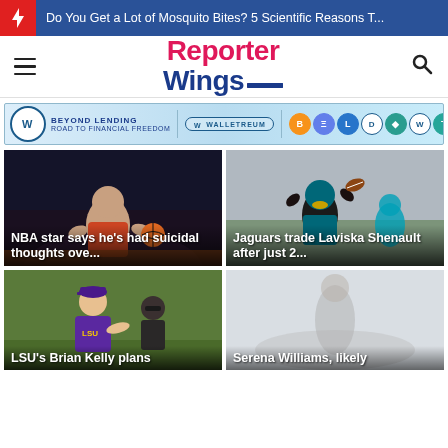Do You Get a Lot of Mosquito Bites? 5 Scientific Reasons T...
Reporter Wings
[Figure (infographic): BEYOND LENDING ROAD TO FINANCIAL FREEDOM — WALLETREUM banner ad with cryptocurrency coin icons]
[Figure (photo): NBA basketball player holding ball on court]
NBA star says he's had suicidal thoughts ove...
[Figure (photo): Jacksonville Jaguars football player catching a pass]
Jaguars trade Laviska Shenault after just 2...
[Figure (photo): LSU coach Brian Kelly in purple LSU shirt on field]
LSU's Brian Kelly plans
[Figure (photo): Blurred/faded sports photo placeholder]
Serena Williams, likely